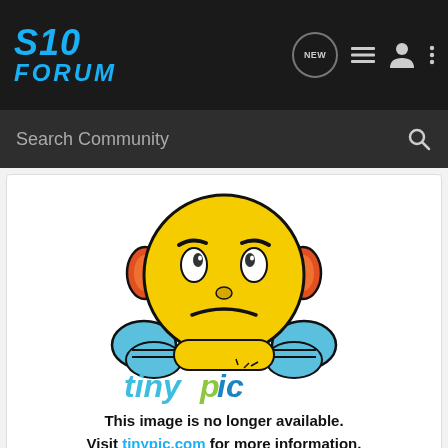S10 Forum
Search Community
[Figure (illustration): Tinypic broken image placeholder: an angry/frustrated yellow emoji character with orange ears and blue hands, above the tinypic logo text, with message 'This image is no longer available. Visit tinypic.com for more information.']
300 watts rms x 1 @ 4 ohms..